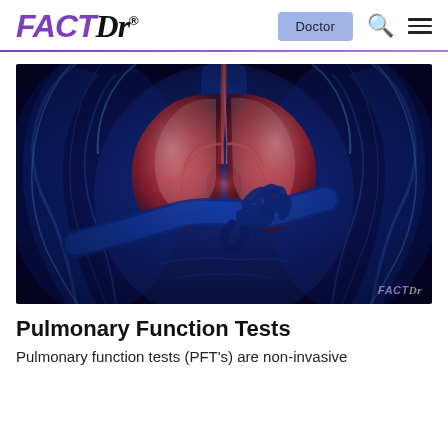FACTDr — Doctor | Search | Menu
[Figure (illustration): Medical illustration of a human torso with glowing blue X-ray-style body and highlighted pink/red lungs visible through the chest, with one hand placed over the chest area. FACTDR watermark in lower right.]
Pulmonary Function Tests
Pulmonary function tests (PFT's) are non-invasive